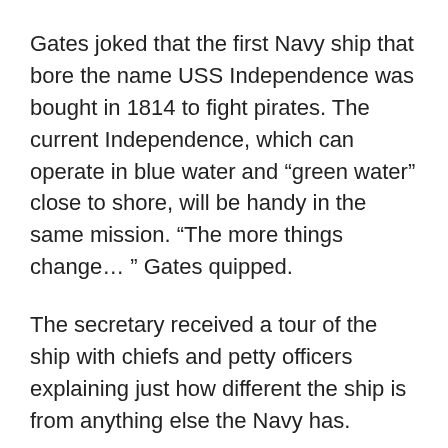Gates joked that the first Navy ship that bore the name USS Independence was bought in 1814 to fight pirates. The current Independence, which can operate in blue water and “green water” close to shore, will be handy in the same mission. “The more things change… ” Gates quipped.
The secretary received a tour of the ship with chiefs and petty officers explaining just how different the ship is from anything else the Navy has.
The bridge is huge, and sailors don’t steer with the typical wheel. Instead, the ship is steered at computer stations and a joy stick. The bridge is carpeted,